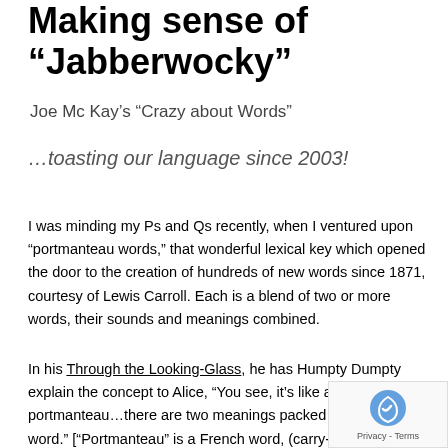Making sense of “Jabberwocky”
Joe Mc Kay’s “Crazy about Words”
…toasting our language since 2003!
I was minding my Ps and Qs recently, when I ventured upon “portmanteau words,” that wonderful lexical key which opened the door to the creation of hundreds of new words since 1871, courtesy of Lewis Carroll. Each is a blend of two or more words, their sounds and meanings combined.
In his Through the Looking-Glass, he has Humpty Dumpty explain the concept to Alice, “You see, it’s like a portmanteau…there are two meanings packed up into one word.” [“Portmanteau” is a French word, (carry+cloak)